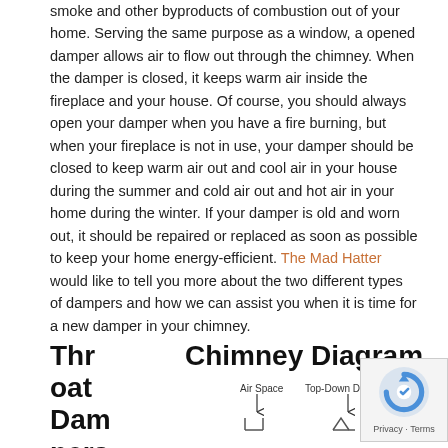smoke and other byproducts of combustion out of your home. Serving the same purpose as a window, a opened damper allows air to flow out through the chimney. When the damper is closed, it keeps warm air inside the fireplace and your house. Of course, you should always open your damper when you have a fire burning, but when your fireplace is not in use, your damper should be closed to keep warm air out and cool air in your house during the summer and cold air out and hot air in your home during the winter. If your damper is old and worn out, it should be repaired or replaced as soon as possible to keep your home energy-efficient. The Mad Hatter would like to tell you more about the two different types of dampers and how we can assist you when it is time for a new damper in your chimney.
Throat Dampers
[Figure (engineering-diagram): Chimney Diagram showing Air Space and Top-Down Damper labels with arrows pointing to diagram components]